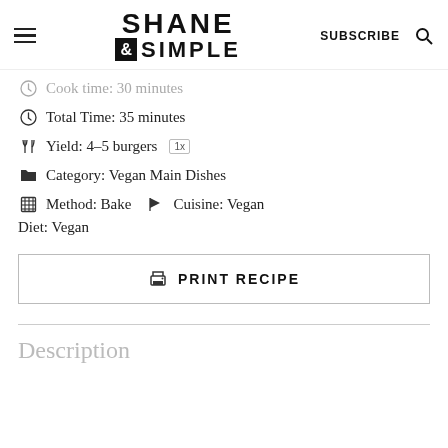Shane & Simple — SUBSCRIBE
Cook time: 30 minutes
Total Time: 35 minutes
Yield: 4–5 burgers 1x
Category: Vegan Main Dishes
Method: Bake  Cuisine: Vegan  Diet: Vegan
PRINT RECIPE
Description